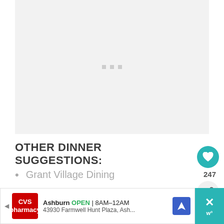[Figure (photo): Image placeholder with loading dots (light gray background)]
OTHER DINNER SUGGESTIONS:
Grant Village Dining
Mammoth Hotel Dining Room
[Figure (infographic): CVS Pharmacy advertisement banner: Ashburn OPEN 8AM-12AM, 43930 Farmwell Hunt Plaza, Ash...]